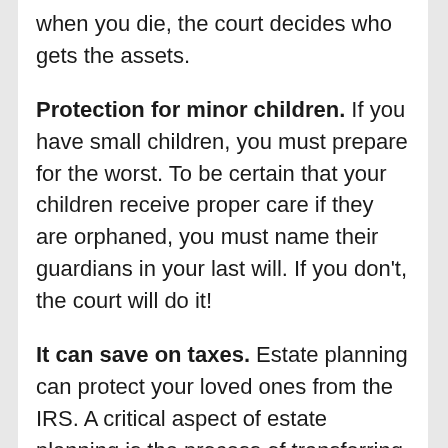when you die, the court decides who gets the assets.
Protection for minor children. If you have small children, you must prepare for the worst. To be certain that your children receive proper care if they are orphaned, you must name their guardians in your last will. If you don't, the court will do it!
It can save on taxes. Estate planning can protect your loved ones from the IRS. A critical aspect of estate planning is the process of transferring assets to the heirs to generate the smallest tax burden for them. Estate planning can minimize estate taxes and state inheritance taxes.